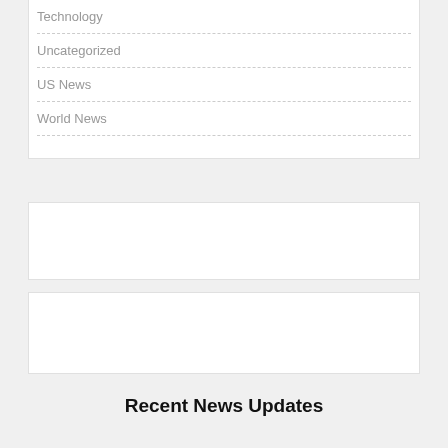Technology
Uncategorized
US News
World News
[Figure (other): Empty white box widget area]
[Figure (other): Empty white box widget area]
Recent News Updates